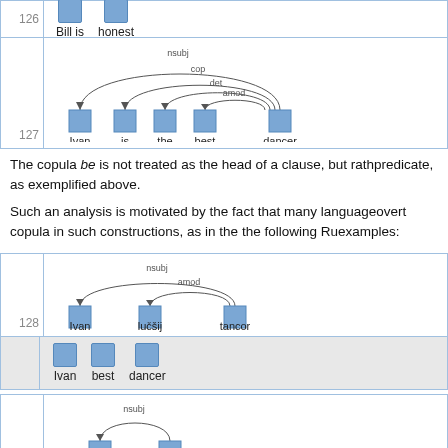[Figure (other): Row 126: Two word boxes labeled 'Bill is' and 'honest' with dependency structure partially visible]
[Figure (other): Row 127: Dependency parse tree for 'Ivan is the best dancer' with arcs labeled nsubj, cop, det, amod]
The copula be is not treated as the head of a clause, but rather predicate, as exemplified above.
Such an analysis is motivated by the fact that many languages overt copula in such constructions, as in the the following Russian examples:
[Figure (other): Row 128: Dependency parse tree for 'Ivan lučšij tancor' with arcs nsubj and amod; gray row shows translation 'Ivan best dancer']
[Figure (other): Row 129: Dependency parse tree for 'ani Kim' with arc nsubj; gray row shows 'I am Kim']